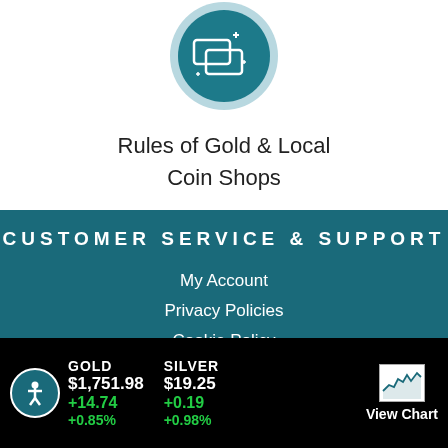[Figure (illustration): Teal circular icon with white line-art coins/rectangles with sparkles, representing a coin shop or gold/silver trading concept]
Rules of Gold & Local Coin Shops
CUSTOMER SERVICE & SUPPORT
My Account
Privacy Policies
Cookie Policy
GOLD $1,751.98 +14.74 +0.85% | SILVER $19.25 +0.19 +0.98% | View Chart